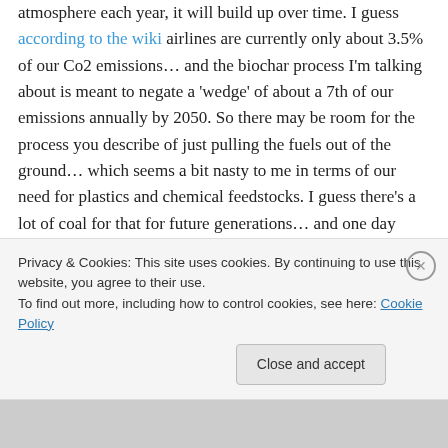atmosphere each year, it will build up over time. I guess according to the wiki airlines are currently only about 3.5% of our Co2 emissions… and the biochar process I'm talking about is meant to negate a 'wedge' of about a 7th of our emissions annually by 2050. So there may be room for the process you describe of just pulling the fuels out of the ground… which seems a bit nasty to me in terms of our need for plastics and chemical feedstocks. I guess there's a lot of coal for that for future generations… and one day hopefully
Privacy & Cookies: This site uses cookies. By continuing to use this website, you agree to their use. To find out more, including how to control cookies, see here: Cookie Policy